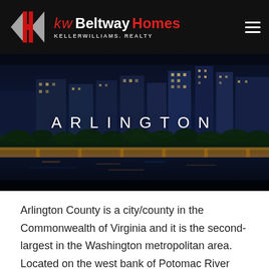[Figure (logo): Keller Williams Beltway Homes logo on dark header background with hamburger menu icon]
[Figure (photo): Night cityscape of Arlington Virginia with tall buildings lit up and a bridge over the Potomac River, with the word ARLINGTON overlaid in white spaced lettering]
Arlington County is a city/county in the Commonwealth of Virginia and it is the second-largest in the Washington metropolitan area. Located on the west bank of Potomac River